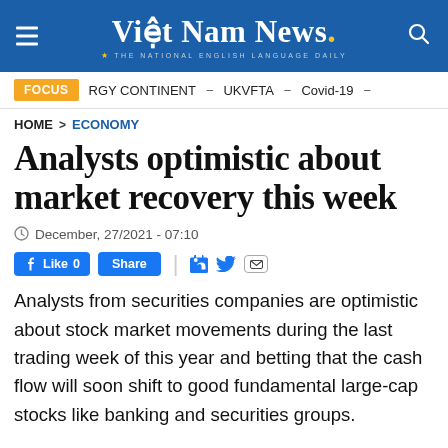Việt Nam News. THE NATIONAL ENGLISH LANGUAGE DAILY
FOCUS  RGY CONTINENT – UKVFTA – Covid-19 –
HOME > ECONOMY
Analysts optimistic about market recovery this week
December, 27/2021 - 07:10
Like 0  Share
Analysts from securities companies are optimistic about stock market movements during the last trading week of this year and betting that the cash flow will soon shift to good fundamental large-cap stocks like banking and securities groups.